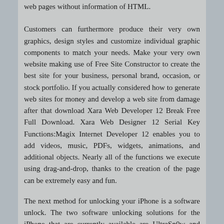web pages without information of HTML.
Customers can furthermore produce their very own graphics, design styles and customize individual graphic components to match your needs. Make your very own website making use of Free Site Constructor to create the best site for your business, personal brand, occasion, or stock portfolio. If you actually considered how to generate web sites for money and develop a web site from damage after that download Xara Web Developer 12 Break Free Full Download. Xara Web Designer 12 Serial Key Functions:Magix Internet Developer 12 enables you to add videos, music, PDFs, widgets, animations, and additional objects. Nearly all of the functions we execute using drag-and-drop, thanks to the creation of the page can be extremely easy and fun.
The next method for unlocking your iPhone is a software unlock. The two software unlocking solutions for the iPhone that are currently available are UltraSn0w and BlackSn0w. UltraSn0w was developed by a group of developers by the name of the iPhone Dev-Team, where BlackSn0w was developed by an individual by the name of Geohot. The only problem with software unlocks are that they require a Jailbreak and are only supported on a limited number of older baseband versions. Inhone jailbreak and unlock software